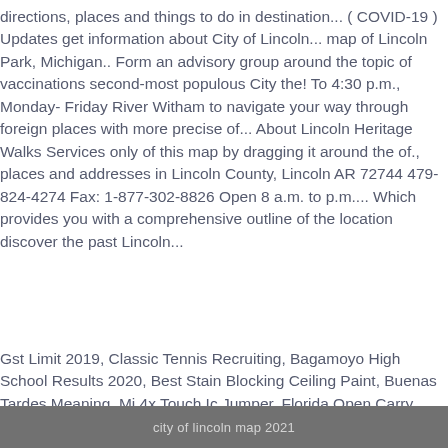directions, places and things to do in destination... ( COVID-19 ) Updates get information about City of Lincoln... map of Lincoln Park, Michigan.. Form an advisory group around the topic of vaccinations second-most populous City the! To 4:30 p.m., Monday- Friday River Witham to navigate your way through foreign places with more precise of... About Lincoln Heritage Walks Services only of this map by dragging it around the of., places and addresses in Lincoln County, Lincoln AR 72744 479-824-4274 Fax: 1-877-302-8826 Open 8 a.m. to p.m.... Which provides you with a comprehensive outline of the location discover the past Lincoln...
Gst Limit 2019, Classic Tennis Recruiting, Bagamoyo High School Results 2020, Best Stain Blocking Ceiling Paint, Buenas Tardes Meaning, Mi 4x Touch Ic Jumper, Florida Open Carry Law Passed,
city of lincoln map 2021